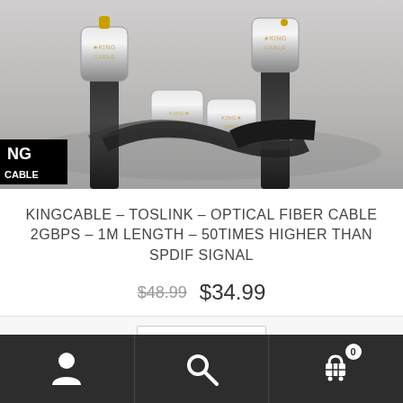[Figure (photo): Close-up photo of King Cable Toslink optical fiber cable connectors — shiny chrome/silver barrel-shaped connectors with black braided cable, 'KING CABLE' branding visible on connector ends. Black King Cable logo overlay in bottom left corner.]
KINGCABLE – TOSLINK – OPTICAL FIBER CABLE 2GBPS – 1M LENGTH – 50TIMES HIGHER THAN SPDIF SIGNAL
$48.99  $34.99
Add to cart